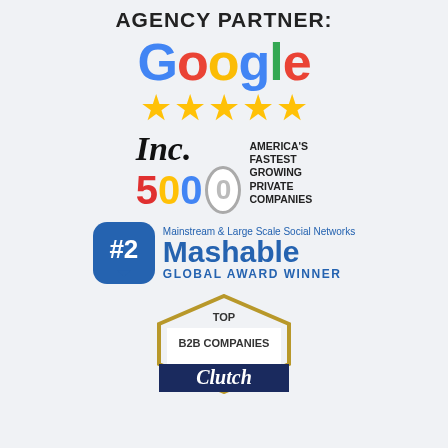AGENCY PARTNER:
[Figure (logo): Google logo with five gold stars (5-star rating)]
[Figure (logo): Inc. 5000 America's Fastest Growing Private Companies badge]
[Figure (logo): Mashable #2 Global Award Winner - Mainstream & Large Scale Social Networks]
[Figure (logo): Clutch Top B2B Companies badge]